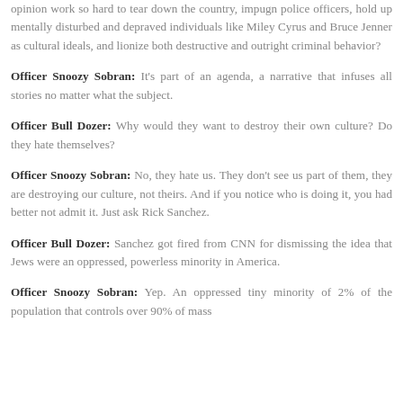opinion work so hard to tear down the country, impugn police officers, hold up mentally disturbed and depraved individuals like Miley Cyrus and Bruce Jenner as cultural ideals, and lionize both destructive and outright criminal behavior?
Officer Snoozy Sobran: It's part of an agenda, a narrative that infuses all stories no matter what the subject.
Officer Bull Dozer: Why would they want to destroy their own culture? Do they hate themselves?
Officer Snoozy Sobran: No, they hate us. They don't see us part of them, they are destroying our culture, not theirs. And if you notice who is doing it, you had better not admit it. Just ask Rick Sanchez.
Officer Bull Dozer: Sanchez got fired from CNN for dismissing the idea that Jews were an oppressed, powerless minority in America.
Officer Snoozy Sobran: Yep. An oppressed tiny minority of 2% of the population that controls over 90% of mass